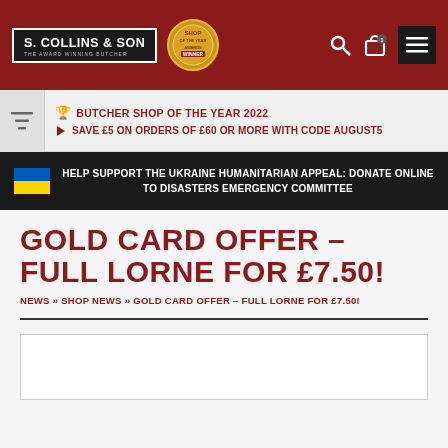S. COLLINS & SON - THE AWARD WINNING BUTCHER
🏆 BUTCHER SHOP OF THE YEAR 2022 | SAVE £5 ON ORDERS OF £60 OR MORE WITH CODE AUGUST5
HELP SUPPORT THE UKRAINE HUMANITARIAN APPEAL: DONATE ONLINE TO DISASTERS EMERGENCY COMMITTEE
GOLD CARD OFFER – FULL LORNE FOR £7.50!
NEWS » SHOP NEWS » GOLD CARD OFFER – FULL LORNE FOR £7.50!
[Figure (other): Empty image placeholder box]